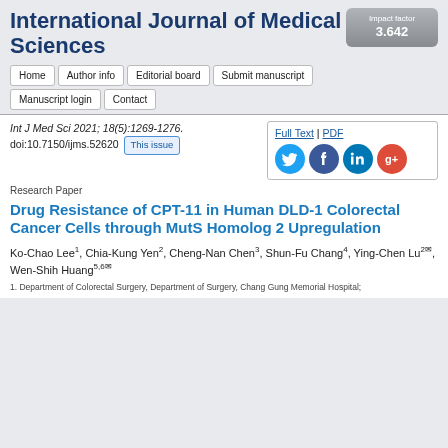Impact factor 3.642
International Journal of Medical Sciences
Home
Author info
Editorial board
Submit manuscript
Manuscript login
Contact
Int J Med Sci 2021; 18(5):1269-1276. doi:10.7150/ijms.52620 This issue
Full Text | PDF
Research Paper
Drug Resistance of CPT-11 in Human DLD-1 Colorectal Cancer Cells through MutS Homolog 2 Upregulation
Ko-Chao Lee1, Chia-Kung Yen2, Cheng-Nan Chen3, Shun-Fu Chang4, Ying-Chen Lu2✉, Wen-Shih Huang5,6✉
1. Department of Colorectal Surgery, Department of Surgery, Chang Gung Memorial Hospital;